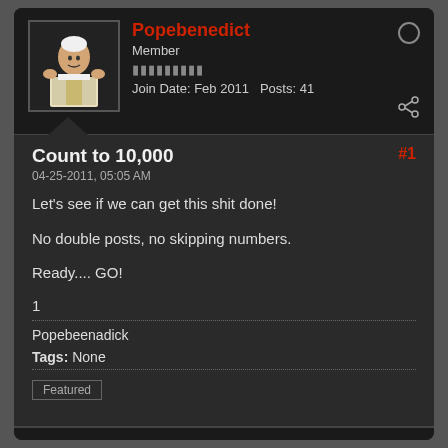Popebenedict
Member
Join Date: Feb 2011   Posts: 41
Count to 10,000
#1
04-25-2011, 05:05 AM
Let's see if we can get this shit done!
No double posts, no skipping numbers.
Ready.... GO!
1
Popebeenadick
Tags: None
Featured